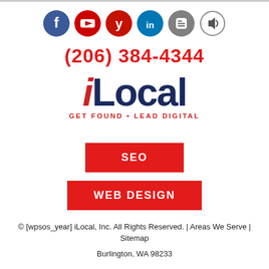[Figure (infographic): Row of six social media icon circles: Facebook (blue), YouTube (red), Yelp (red), LinkedIn (teal), Blogger (gray), and a speaker/audio icon (outlined circle).]
(206) 384-4344
[Figure (logo): iLocal logo with italic red 'i' and dark navy 'Local', tagline 'GET FOUND • LEAD DIGITAL' in red below.]
SEO
WEB DESIGN
© [wpsos_year] iLocal, Inc. All Rights Reserved. | Areas We Serve | Sitemap
Burlington, WA 98233